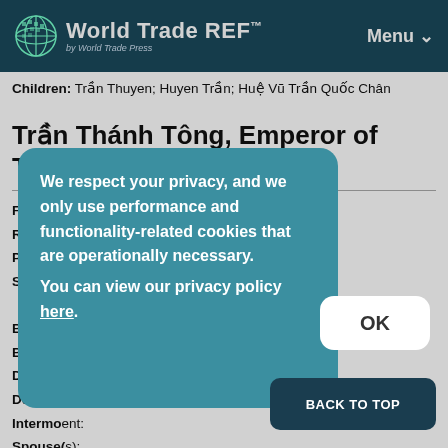World Trade REF™ | Menu
Children: Trần Thuyen; Huyen Trần; Huệ Vũ Trần Quốc Chân
Trần Thánh Tông, Emperor of Trần dynasty
Full Nam[e:]
Reign: 1[...]
Predece[ssor:]
Success[or:]
Born: 12[...]
Birth Pl[ace:]
Died: 3 [...]
Death Pl[ace:]
Intermo[ment:]
Spouse([):]
Children: Trần Khâm; Tả Thiện Trần Đức Viên; Thiện Thuy
We respect your privacy, and we only use performance and functionality-related cookies that are operationally necessary. You can view our privacy policy here.